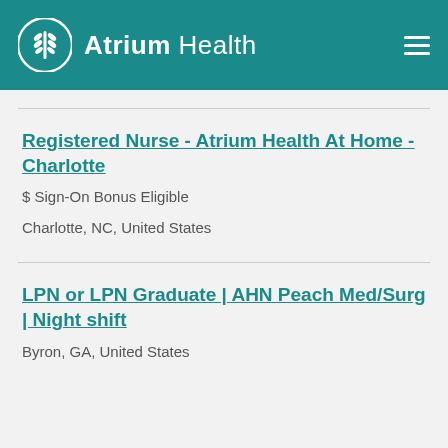Atrium Health
Registered Nurse - Atrium Health At Home - Charlotte
$ Sign-On Bonus Eligible
Charlotte, NC, United States
LPN or LPN Graduate | AHN Peach Med/Surg | Night shift
Byron, GA, United States